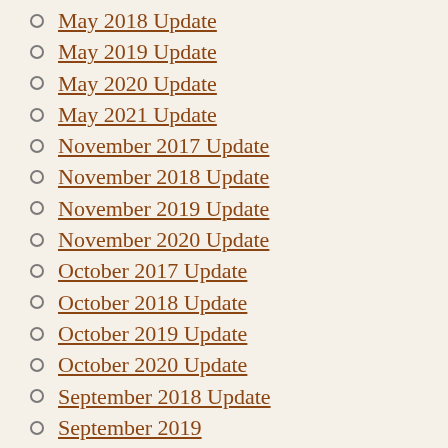May 2018 Update
May 2019 Update
May 2020 Update
May 2021 Update
November 2017 Update
November 2018 Update
November 2019 Update
November 2020 Update
October 2017 Update
October 2018 Update
October 2019 Update
October 2020 Update
September 2018 Update
September 2019
September 2020 Update